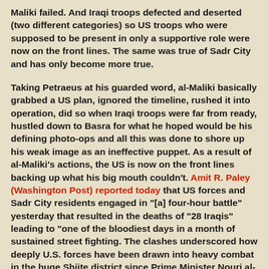Maliki failed. And Iraqi troops defected and deserted (two different categories) so US troops who were supposed to be present in only a supportive role were now on the front lines. The same was true of Sadr City and has only become more true.
Taking Petraeus at his guarded word, al-Maliki basically grabbed a US plan, ignored the timeline, rushed it into operation, did so when Iraqi troops were far from ready, hustled down to Basra for what he hoped would be his defining photo-ops and all this was done to shore up his weak image as an ineffective puppet. As a result of al-Maliki's actions, the US is now on the front lines backing up what his big mouth couldn't. Amit R. Paley (Washington Post) reported today that US forces and Sadr City residents engaged in "[a] four-hour battle" yesterday that resulted in the deaths of "28 Iraqis" leading to "one of the bloodiest days in a month of sustained street fighting. The clashes underscored how deeply U.S. forces have been drawn into heavy combat in the huge Shiite district since Prime Minister Nouri al-Maliki unexpectedly launched an offensive in southern Iraq last month against Shiite militias, principally the